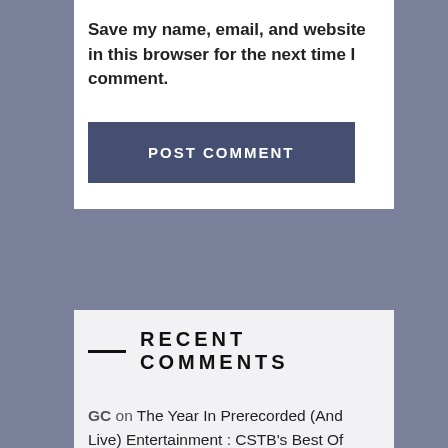Save my name, email, and website in this browser for the next time I comment.
POST COMMENT
RECENT COMMENTS
GC on The Year In Prerecorded (And Live) Entertainment : CSTB's Best Of 2017 (In Non-Slideshow Form)
Marc on The Year In Prerecorded (And Live) Entertainment : CSTB's Best Of 2017 (In Non-Slideshow Form)